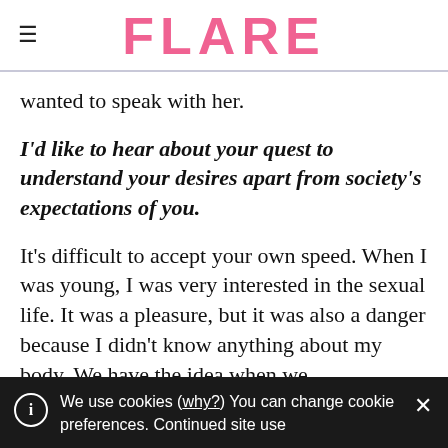FLARE
wanted to speak with her.
I'd like to hear about your quest to understand your desires apart from society's expectations of you.
It's difficult to accept your own speed. When I was young, I was very interested in the sexual life. It was a pleasure, but it was also a danger because I didn't know anything about my body. We have the idea when we
We use cookies (why?) You can change cookie preferences. Continued site use